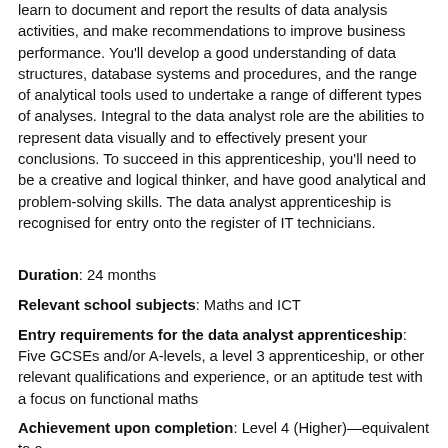learn to document and report the results of data analysis activities, and make recommendations to improve business performance. You'll develop a good understanding of data structures, database systems and procedures, and the range of analytical tools used to undertake a range of different types of analyses. Integral to the data analyst role are the abilities to represent data visually and to effectively present your conclusions. To succeed in this apprenticeship, you'll need to be a creative and logical thinker, and have good analytical and problem-solving skills. The data analyst apprenticeship is recognised for entry onto the register of IT technicians.
Duration: 24 months
Relevant school subjects: Maths and ICT
Entry requirements for the data analyst apprenticeship: Five GCSEs and/or A-levels, a level 3 apprenticeship, or other relevant qualifications and experience, or an aptitude test with a focus on functional maths
Achievement upon completion: Level 4 (Higher)—equivalent to a